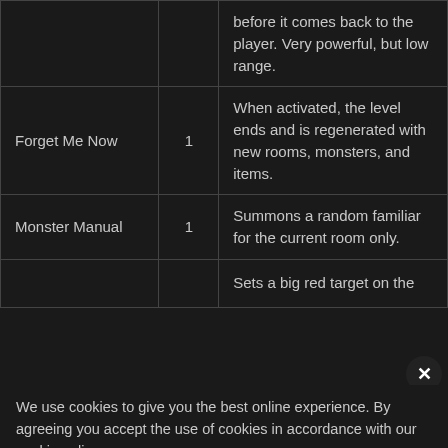| Name | Count | Description |
| --- | --- | --- |
|  |  | before it comes back to the player. Very powerful, but low range. |
| Forget Me Now | 1 | When activated, the level ends and is regenerated with new rooms, monsters, and items. |
| Monster Manual | 1 | Summons a random familiar for the current room only. |
|  |  | Sets a big red target on the |
| Odd Mushroom | 1 | Tears to maximum (Rate of fire); |
We use cookies to give you the best online experience. By agreeing you accept the use of cookies in accordance with our cookie policy.
MY PREFERENCES | I DECLINE | I ACCEPT
Cookie Policy